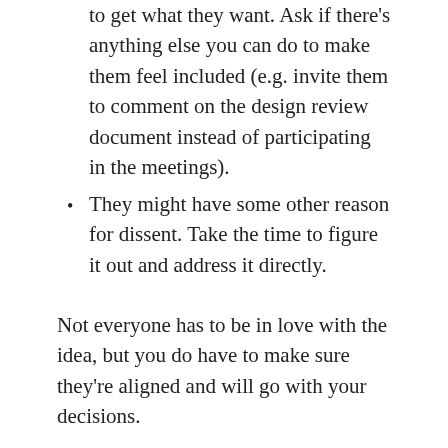to get what they want. Ask if there's anything else you can do to make them feel included (e.g. invite them to comment on the design review document instead of participating in the meetings).
They might have some other reason for dissent. Take the time to figure it out and address it directly.
Not everyone has to be in love with the idea, but you do have to make sure they're aligned and will go with your decisions.
Execute
This is the time to stop attending a lot of preparation meetings and just do the work. You should still keep the team aligned on progress